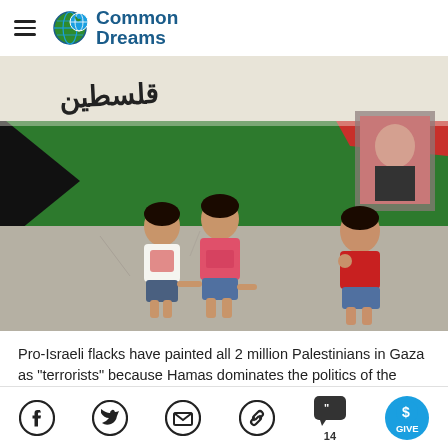Common Dreams
[Figure (photo): Three young Palestinian children standing in front of a large mural of the Palestinian flag painted on a wall, with Arabic text above them.]
Pro-Israeli flacks have painted all 2 million Palestinians in Gaza as "terrorists" because Hamas dominates the politics of the
Social share icons: Facebook, Twitter, Email, Link, Comments (14), Give